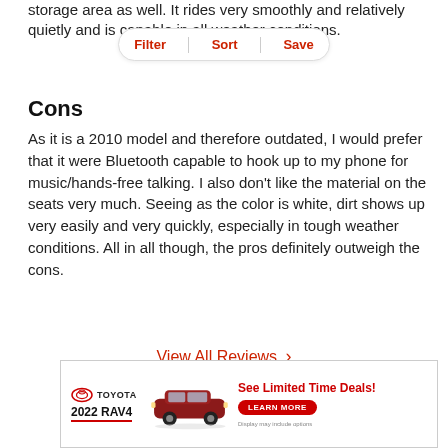storage area as well. It rides very smoothly and relatively quietly and is capable in all weather conditions.
Filter | Sort | Save
Cons
As it is a 2010 model and therefore outdated, I would prefer that it were Bluetooth capable to hook up to my phone for music/hands-free talking. I also don't like the material on the seats very much. Seeing as the color is white, dirt shows up very easily and very quickly, especially in tough weather conditions. All in all though, the pros definitely outweigh the cons.
View All Reviews >
[Figure (other): Toyota 2022 RAV4 advertisement banner with Toyota logo, car image, and 'See Limited Time Deals!' call to action with Learn More button.]